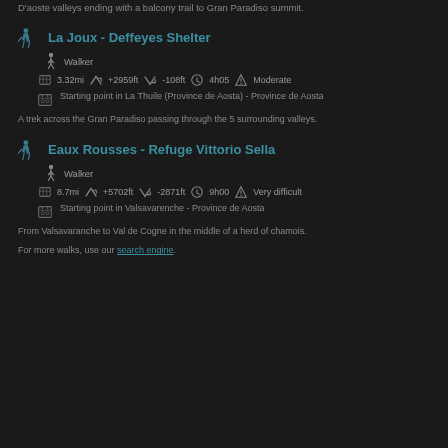D'aoste valleys ending with a balcony trail to Gran Paradiso summit.
La Joux - Deffeyes Shelter
Walker
3.32mi  +2959ft  -108ft  4h05  Moderate
Starting point in La Thuile (Province de Aosta) - Province de Aosta
A trek across the Gran Paradiso passing through the 5 surrounding valleys.
Eaux Rousses - Refuge Vittorio Sella
Walker
8.7mi  +5702ft  -2871ft  9h00  Very difficult
Starting point in Valsavarenche - Province de Aosta
From Valsavaranche to Val de Cogne in the middle of a herd of chamois.
For more walks, use our search engine.